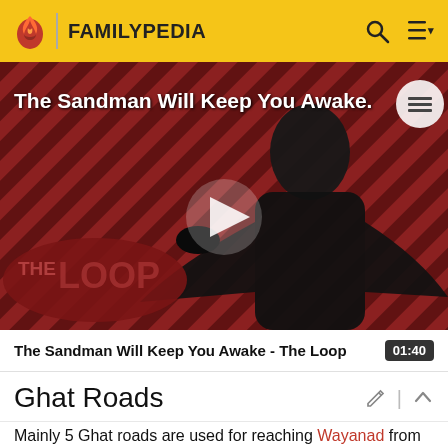FAMILYPEDIA
[Figure (screenshot): Video thumbnail for 'The Sandman Will Keep You Awake - The Loop' showing a figure in black against a red and dark striped background with a large play button in the center and 'THE LOOP' text logo in the lower left.]
The Sandman Will Keep You Awake - The Loop  01:40
Ghat Roads
Mainly 5 Ghat roads are used for reaching Wayanad from